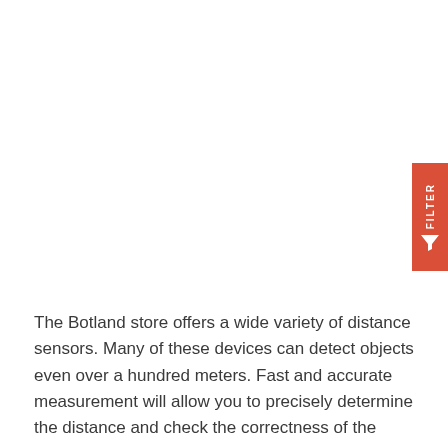[Figure (other): Filter tab UI element on the right side with red background showing 'FILTER' text vertically and a funnel/filter icon below it]
The Botland store offers a wide variety of distance sensors. Many of these devices can detect objects even over a hundred meters. Fast and accurate measurement will allow you to precisely determine the distance and check the correctness of the data. The distance sensor is a device with a very versatile application. It will come in handy when you are building a hobby project to protect your property. Buy this sensor if you want your robot to be able to